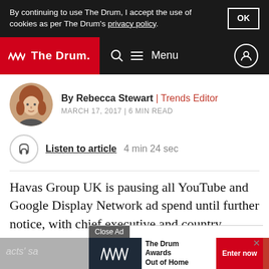By continuing to use The Drum, I accept the use of cookies as per The Drum's privacy policy.
The Drum — Menu
By Rebecca Stewart | Trends Editor
MARCH 17, 2017 | 6 MIN READ
Listen to article  4 min 24 sec
Havas Group UK is pausing all YouTube and Google Display Network ad spend until further notice, with chief executive and country manager Paul Frampton saying it has a "duty of care" to clients to ensure brand safety.
[Figure (screenshot): Advertisement overlay for The Drum Awards Out of Home with Enter now button]